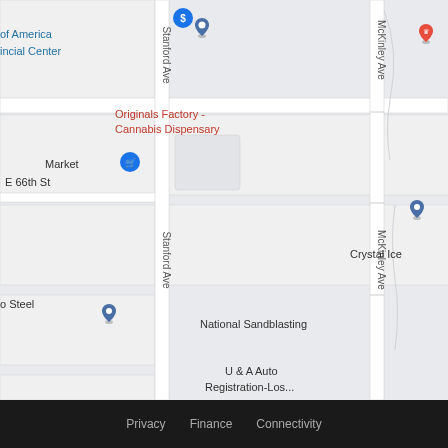[Figure (map): Google Maps screenshot showing a street map of an area in Los Angeles with Stanford Ave, McKinley Ave, E Gage Ave, E 66th St. Locations shown include: Bank of America Financial Center, Originals Factory Cannabis Dispensary, Tam's Burgers, ANDY'S PIZZA, USPS LAP&DC, OG Center Cannabis Dispensary, Crystal Ice, National Sandblasting, U & A Auto Registration-Los..., United States Postal Service, LAP&DC GATE4, and a Market.]
Privacy  Finance  Connectivity